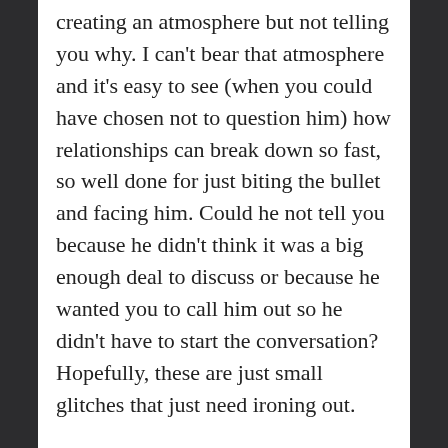creating an atmosphere but not telling you why. I can't bear that atmosphere and it's easy to see (when you could have chosen not to question him) how relationships can break down so fast, so well done for just biting the bullet and facing him. Could he not tell you because he didn't think it was a big enough deal to discuss or because he wanted you to call him out so he didn't have to start the conversation? Hopefully, these are just small glitches that just need ironing out.
I find myself thinking more and more recently how I couldn't imagine having to deal with a monogamous relationship again. It just seems like so much work when I have so much time to spend on me. We're always on that learning